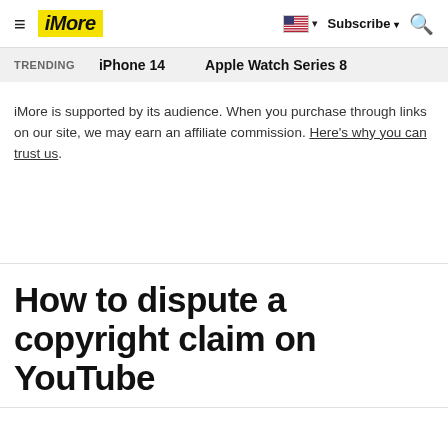iMore — Subscribe — Search
TRENDING   iPhone 14   Apple Watch Series 8
iMore is supported by its audience. When you purchase through links on our site, we may earn an affiliate commission. Here's why you can trust us.
How to dispute a copyright claim on YouTube